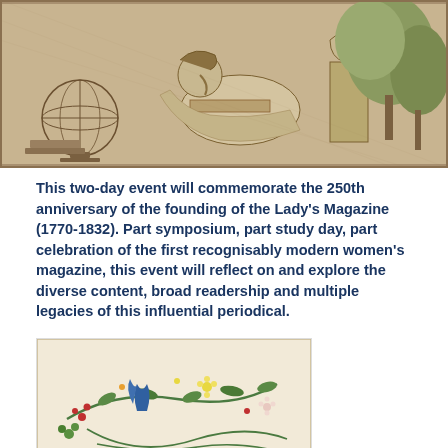[Figure (illustration): Historical engraving/illustration in sepia tones showing figures (possibly women) studying or reading, with a globe visible on the left side and trees/foliage on the right background.]
This two-day event will commemorate the 250th anniversary of the founding of the Lady's Magazine (1770-1832). Part symposium, part study day, part celebration of the first recognisably modern women's magazine, this event will reflect on and explore the diverse content, broad readership and multiple legacies of this influential periodical.
[Figure (illustration): Book cover image with floral embroidery design on a cream/beige background. Title text reads 'Jane Austen Embroidery' in blue letters at the bottom portion of the cover.]